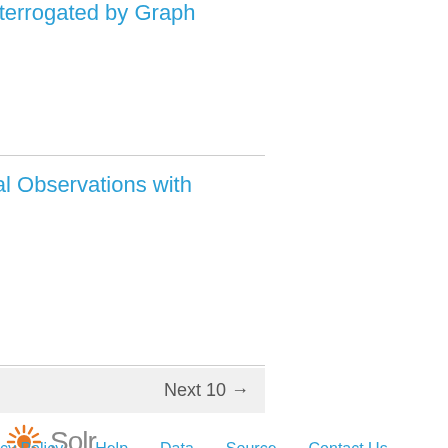ces Interrogated by Graph
imental Observations with
Next 10 →
[Figure (logo): Apache Solr logo with orange sunburst icon and 'Solr' text in grey]
cy Policy   Help   Data   Source   Contact Us
f Information Sciences and Technology
vania State University